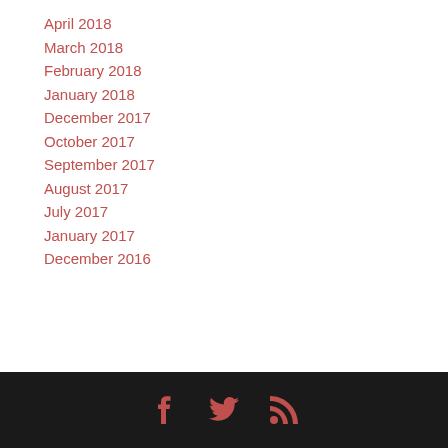April 2018
March 2018
February 2018
January 2018
December 2017
October 2017
September 2017
August 2017
July 2017
January 2017
December 2016
Social media icons: Facebook, Twitter, RSS